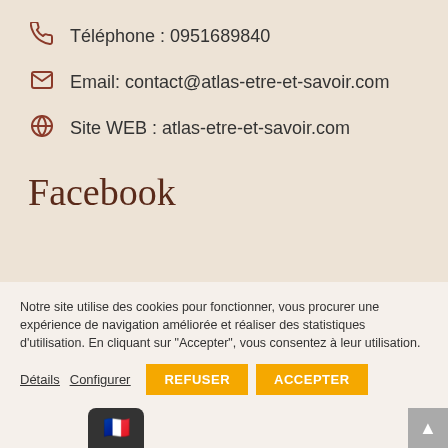Téléphone : 0951689840
Email: contact@atlas-etre-et-savoir.com
Site WEB : atlas-etre-et-savoir.com
Facebook
Notre site utilise des cookies pour fonctionner, vous procurer une expérience de navigation améliorée et réaliser des statistiques d'utilisation. En cliquant sur "Accepter", vous consentez à leur utilisation.
Détails  Configurer  REFUSER  ACCEPTER